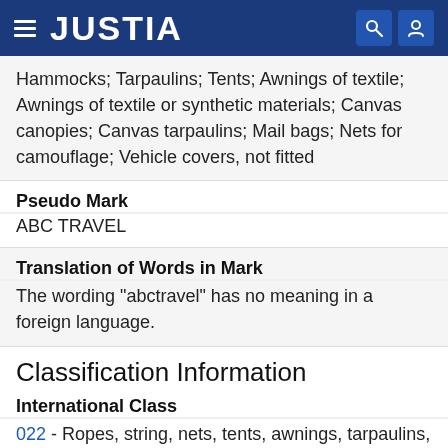JUSTIA
Hammocks; Tarpaulins; Tents; Awnings of textile; Awnings of textile or synthetic materials; Canvas canopies; Canvas tarpaulins; Mail bags; Nets for camouflage; Vehicle covers, not fitted
Pseudo Mark
ABC TRAVEL
Translation of Words in Mark
The wording "abctravel" has no meaning in a foreign language.
Classification Information
International Class
022 - Ropes, string, nets, tents, awnings, tarpaulins, sails, sacks and bags (not included in other classes); padding and stuffing materials (except of rubber or plastics); raw